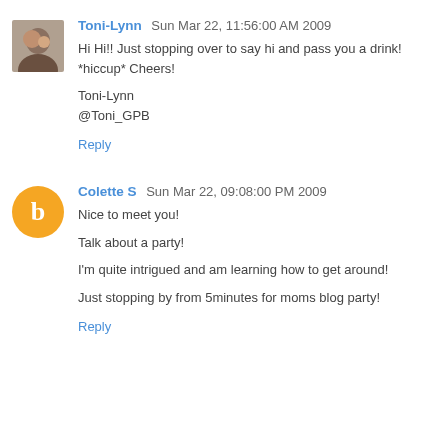Toni-Lynn Sun Mar 22, 11:56:00 AM 2009
Hi Hi!! Just stopping over to say hi and pass you a drink! *hiccup* Cheers!

Toni-Lynn
@Toni_GPB

Reply
Colette S Sun Mar 22, 09:08:00 PM 2009
Nice to meet you!

Talk about a party!

I'm quite intrigued and am learning how to get around!

Just stopping by from 5minutes for moms blog party!

Reply